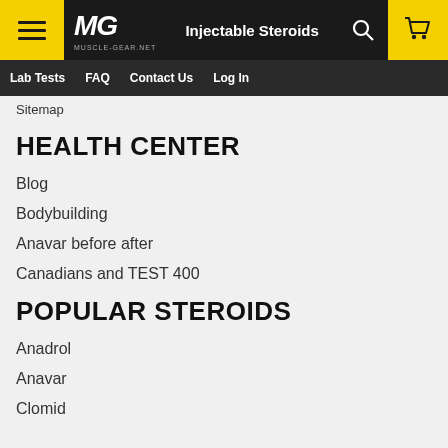MG MUSCLE-GEAR.NET | Injectable Steroids | Lab Tests | FAQ | Contact Us | Log In
Sitemap
HEALTH CENTER
Blog
Bodybuilding
Anavar before after
Canadians and TEST 400
POPULAR STEROIDS
Anadrol
Anavar
Clomid